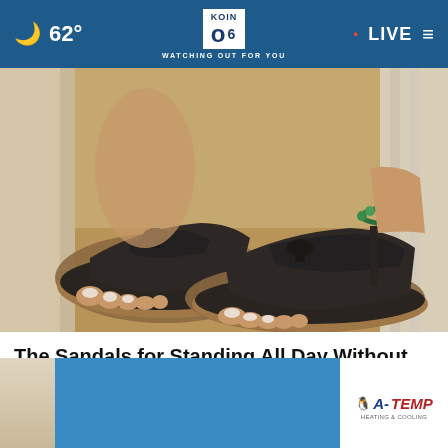62° | KOIN 6 CBS WATCHING OUT FOR YOU | LIVE
[Figure (photo): Close-up photo of woman's feet wearing black textured thong sandals with thick brown soles, green bead anklet visible on one ankle]
The Sandals for Standing All Day Without Discomfort
Sursell
[Figure (screenshot): Advertisement banner with blue background on left and A-TEMP logo on white background on right, with an X close button]